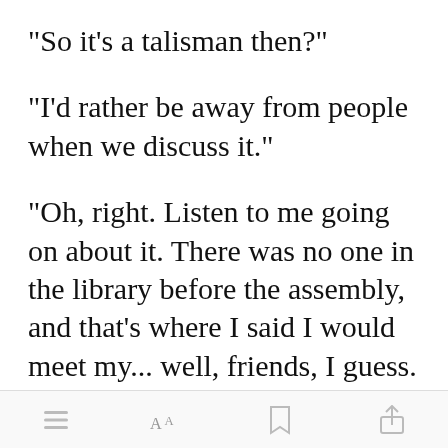"So it's a talisman then?"
"I'd rather be away from people when we discuss it."
"Oh, right. Listen to me going on about it. There was no one in the library before the assembly, and that's where I said I would meet my... well, friends, I guess. One friend and two [roommates],
[Figure (screenshot): Green 'Open in app' button overlay]
Toolbar with menu, font size, bookmark, and share icons